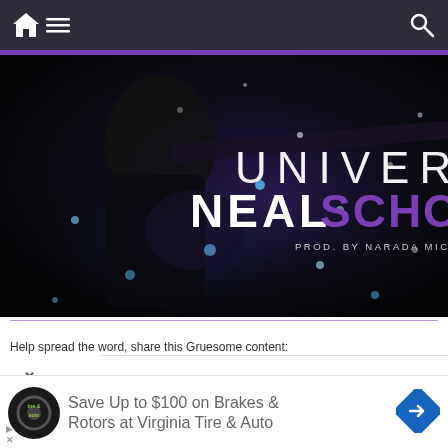Navigation bar with home, menu, and search icons
[Figure (photo): Album cover for 'Universe' by Neal Schon, produced by Narada Michael Walden. Dark background with a guitarist figure and cosmic/snow bokeh effect. Text reads: UNIVERSE NEAL SCHON PROD. BY NARADA MICHAEL WALDEN]
Help spread the word, share this Gruesome content:
Save Up to $100 on Brakes & Rotors at Virginia Tire & Auto